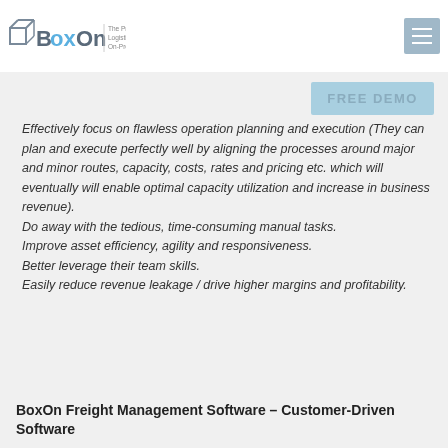management software, enterprises can
[Figure (logo): BoxOn logo with tagline: The Premier Logistics Software On-Premise & SaaS]
FREE DEMO
Effectively focus on flawless operation planning and execution (They can plan and execute perfectly well by aligning the processes around major and minor routes, capacity, costs, rates and pricing etc. which will eventually will enable optimal capacity utilization and increase in business revenue).
Do away with the tedious, time-consuming manual tasks.
Improve asset efficiency, agility and responsiveness.
Better leverage their team skills.
Easily reduce revenue leakage / drive higher margins and profitability.
BoxOn Freight Management Software – Customer-Driven Software